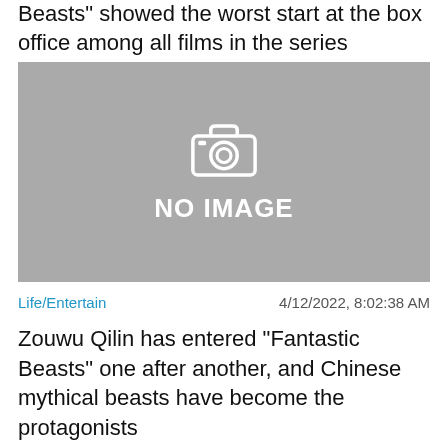Beasts" showed the worst start at the box office among all films in the series
[Figure (photo): No image placeholder with camera icon and text 'NO IMAGE' on grey background]
Life/Entertain    4/12/2022, 8:02:38 AM
Zouwu Qilin has entered "Fantastic Beasts" one after another, and Chinese mythical beasts have become the protagonists
[Figure (infographic): Close X button and BitLife advertisement banner with GOD MODE promotion]